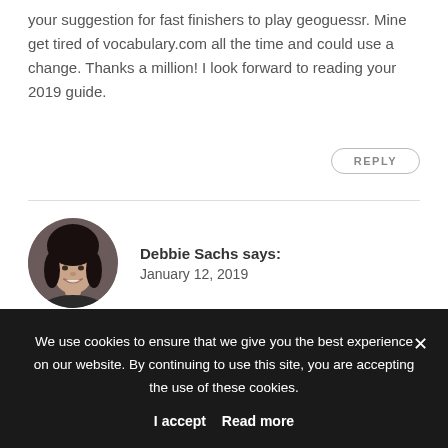your suggestion for fast finishers to play geoguessr. Mine get tired of vocabulary.com all the time and could use a change. Thanks a million! I look forward to reading your 2019 guide.
REPLY
Debbie Sachs says: January 12, 2019
[Figure (photo): Circular avatar photo of a smiling woman with dark hair]
Janet! Glad you found this helpful – Jenn will be so happy to hear this. Have fun!
We use cookies to ensure that we give you the best experience on our website. By continuing to use this site, you are accepting the use of these cookies.
I accept  Read more